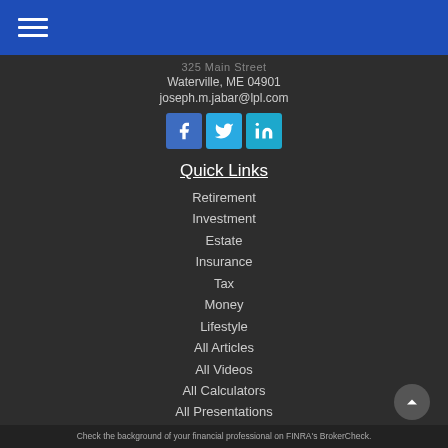Waterville, ME 04901
joseph.m.jabar@lpl.com
[Figure (other): Social media icons: Facebook, Twitter, LinkedIn]
Quick Links
Retirement
Investment
Estate
Insurance
Tax
Money
Lifestyle
All Articles
All Videos
All Calculators
All Presentations
Check the background of your financial professional on FINRA's BrokerCheck.